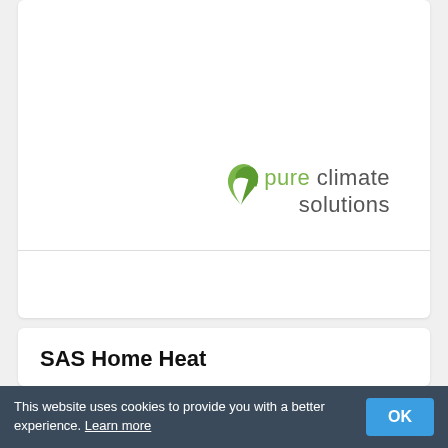[Figure (logo): Pure Climate Solutions logo with green leaf icon and two-color text: 'pure' in green, 'climate solutions' in gray]
VIEW OUR PROFILE
(4.50/5)
SAS Home Heat
SAS Home Heat has been formed to service SAS Energy's existing and new domestic customers for all their plumbing,
This website uses cookies to provide you with a better experience. Learn more  OK